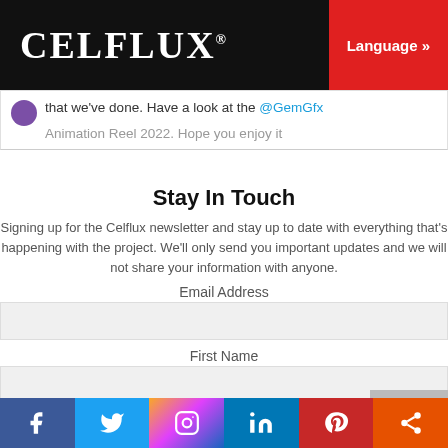CELFLUX® Language »
that we've done. Have a look at the @GemGfx Animation Reel 2022. Hope you enjoy it
Stay In Touch
Signing up for the Celflux newsletter and stay up to date with everything that's happening with the project. We'll only send you important updates and we will not share your information with anyone.
Email Address
First Name
Last Name
Facebook Twitter Instagram LinkedIn Pinterest Share